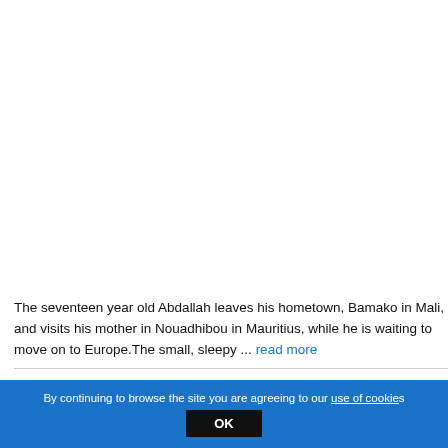The seventeen year old Abdallah leaves his hometown, Bamako in Mali, and visits his mother in Nouadhibou in Mauritius, while he is waiting to move on to Europe.The small, sleepy ... read more
LA TROPICAL
David Turnley
By continuing to browse the site you are agreeing to our use of cookies